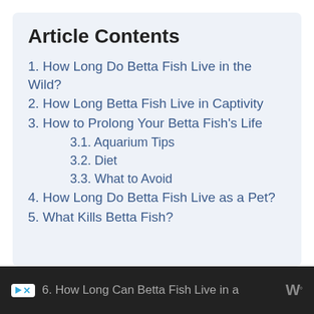Article Contents
1. How Long Do Betta Fish Live in the Wild?
2. How Long Betta Fish Live in Captivity
3. How to Prolong Your Betta Fish's Life
3.1. Aquarium Tips
3.2. Diet
3.3. What to Avoid
4. How Long Do Betta Fish Live as a Pet?
5. What Kills Betta Fish?
6. How Long Can Betta Fish Live in a...